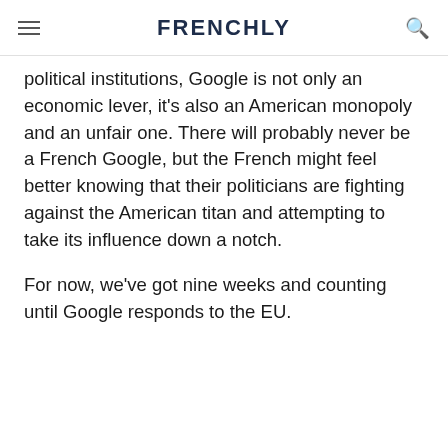FRENCHLY
political institutions, Google is not only an economic lever, it's also an American monopoly and an unfair one. There will probably never be a French Google, but the French might feel better knowing that their politicians are fighting against the American titan and attempting to take its influence down a notch.
For now, we've got nine weeks and counting until Google responds to the EU.